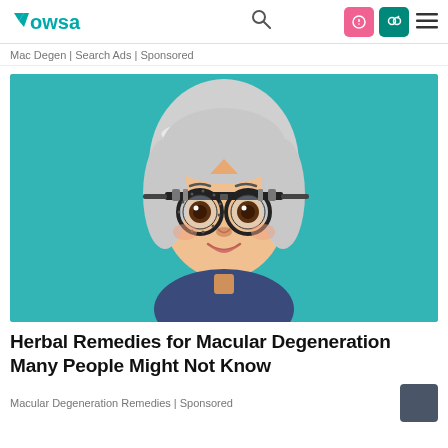Wowsa
Mac Degen | Search Ads | Sponsored
[Figure (illustration): Cartoon illustration of an elderly woman with white/gray hair wearing optician trial lens frames (phoropter glasses) against a teal background, dressed in a dark blue top, smiling.]
Herbal Remedies for Macular Degeneration Many People Might Not Know
Macular Degeneration Remedies | Sponsored